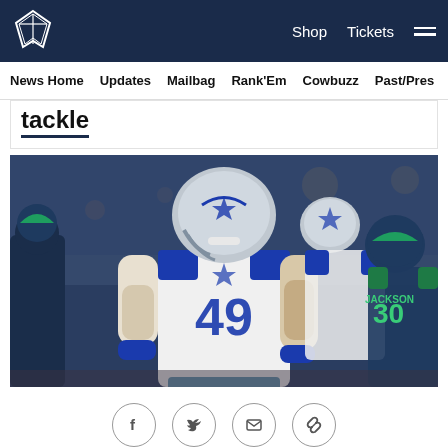Dallas Cowboys navigation: Shop, Tickets, Menu
News Home  Updates  Mailbag  Rank'Em  Cowbuzz  Past/Pres
tackle
[Figure (photo): Dallas Cowboys player #49 in white uniform celebrating on field, with a Seattle Seahawks player #30 JACKSON visible in background. Stadium crowd behind them.]
[Figure (infographic): Social sharing icons row: Facebook, Twitter, Email, Link/copy]